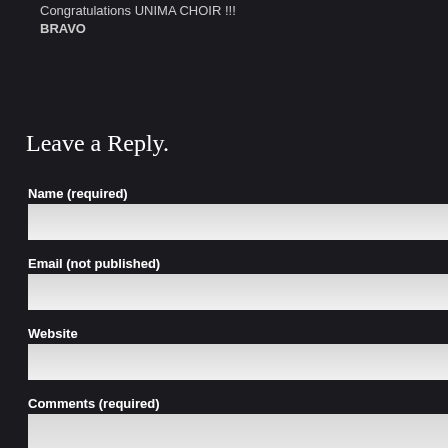Congratulations UNIMA CHOIR !!! BRAVO
Leave a Reply.
Name (required)
Email (not published)
Website
Comments (required)